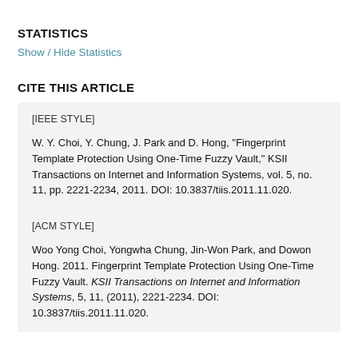STATISTICS
Show / Hide Statistics
CITE THIS ARTICLE
[IEEE STYLE]

W. Y. Choi, Y. Chung, J. Park and D. Hong, "Fingerprint Template Protection Using One-Time Fuzzy Vault," KSII Transactions on Internet and Information Systems, vol. 5, no. 11, pp. 2221-2234, 2011. DOI: 10.3837/tiis.2011.11.020.
[ACM STYLE]

Woo Yong Choi, Yongwha Chung, Jin-Won Park, and Dowon Hong. 2011. Fingerprint Template Protection Using One-Time Fuzzy Vault. KSII Transactions on Internet and Information Systems, 5, 11, (2011), 2221-2234. DOI: 10.3837/tiis.2011.11.020.